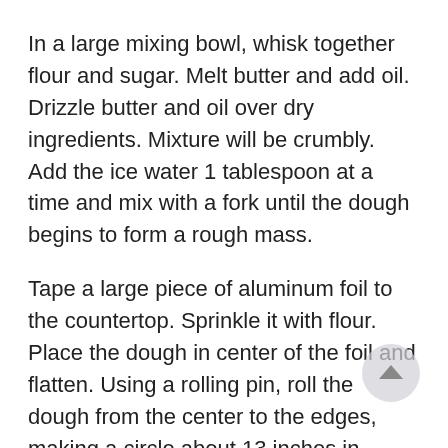In a large mixing bowl, whisk together flour and sugar. Melt butter and add oil. Drizzle butter and oil over dry ingredients. Mixture will be crumbly. Add the ice water 1 tablespoon at a time and mix with a fork until the dough begins to form a rough mass.
Tape a large piece of aluminum foil to the countertop. Sprinkle it with flour. Place the dough in center of the foil and flatten. Using a rolling pin, roll the dough from the center to the edges, making a circle about 13 inches in diameter.
Place the fruit filling in the center of the dough. Spread the filling over the dough, leaving a 1- to 2-inch border. Fold the edges of the crust up and over the filling. The pastry won't completely cover the filling. It should look rustic.